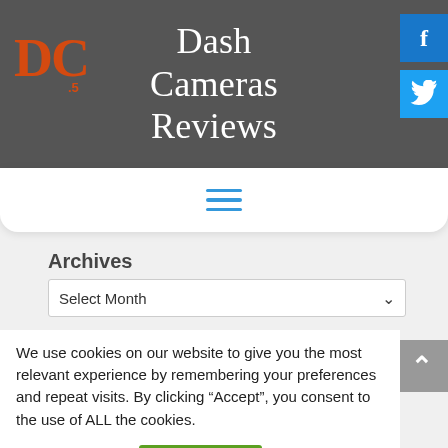[Figure (logo): DC logo in orange on dark gray background]
Dash Cameras Reviews
[Figure (illustration): Facebook social icon button (blue)]
[Figure (illustration): Twitter social icon button (blue)]
[Figure (illustration): Hamburger menu icon (three horizontal blue lines)]
Archives
Select Month
We use cookies on our website to give you the most relevant experience by remembering your preferences and repeat visits. By clicking “Accept”, you consent to the use of ALL the cookies.
Cookie settings
ACCEPT